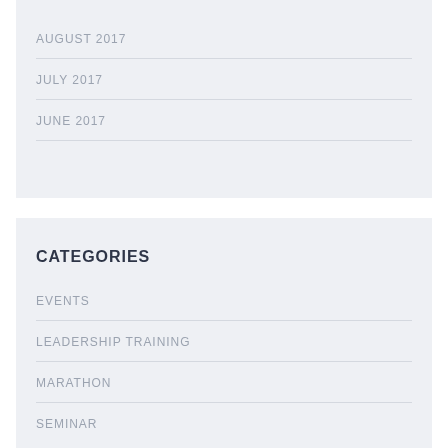AUGUST 2017
JULY 2017
JUNE 2017
CATEGORIES
EVENTS
LEADERSHIP TRAINING
MARATHON
SEMINAR